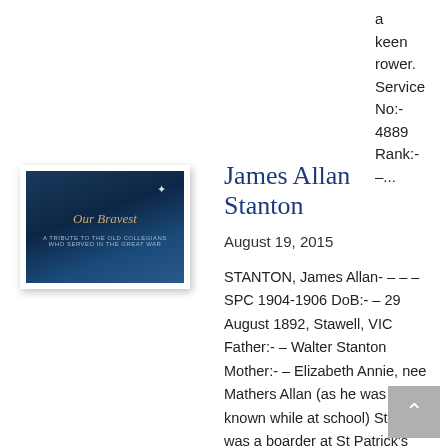a keen rower. Service No:- 4889 Rank:- –...
[Figure (illustration): Book cover thumbnail for 'Our Bravest' — dark blue background with faint building silhouette, gold italic title text, small star in upper right]
James Allan Stanton
August 19, 2015
STANTON, James Allan- – – – SPC 1904-1906 DoB:- – 29 August 1892, Stawell, VIC Father:- – Walter Stanton Mother:- – Elizabeth Annie, nee Mathers Allan (as he was known while at school) Stanton was a boarder at St Patrick's from Koroit in western Victoria. Service No:- – Rank:- – Lieutenant Unit:- – 46th Battalion...